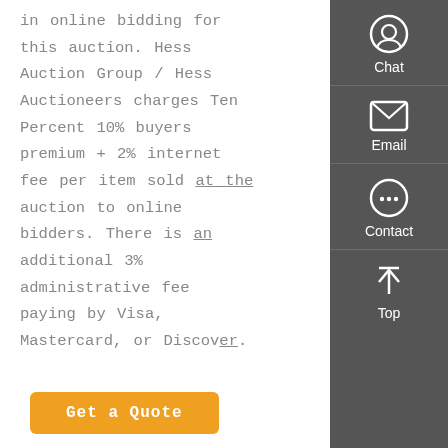in online bidding for this auction. Hess Auction Group / Hess Auctioneers charges Ten Percent 10% buyers premium + 2% internet fee per item sold at the auction to online bidders. There is an additional 3% administrative fee paying by Visa, Mastercard, or Discover.